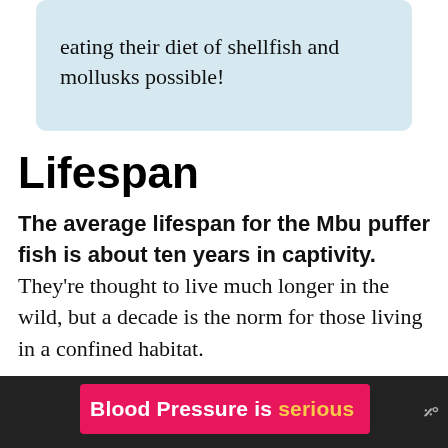eating their diet of shellfish and mollusks possible!
Lifespan
The average lifespan for the Mbu puffer fish is about ten years in captivity. They're thought to live much longer in the wild, but a decade is the norm for those living in a confined habitat.
As always, there are no guarantees with life expectancy. Several factors impact their resilience to disease and overall longevity. In
Blood Pressure is serious